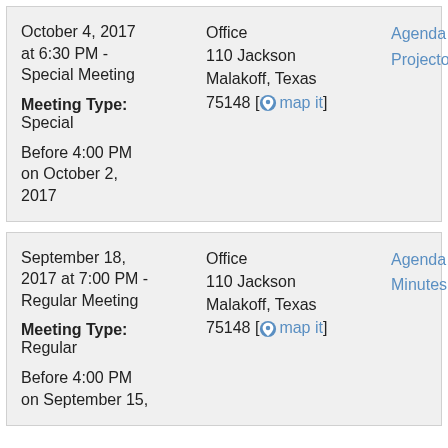| Date/Type | Location | Documents |
| --- | --- | --- |
| October 4, 2017 at 6:30 PM - Special Meeting
Meeting Type: Special
Before 4:00 PM on October 2, 2017 | Office
110 Jackson
Malakoff, Texas
75148 [map it] | Agenda
Projector |
| September 18, 2017 at 7:00 PM - Regular Meeting
Meeting Type: Regular
Before 4:00 PM on September 15, | Office
110 Jackson
Malakoff, Texas
75148 [map it] | Agenda
Minutes |